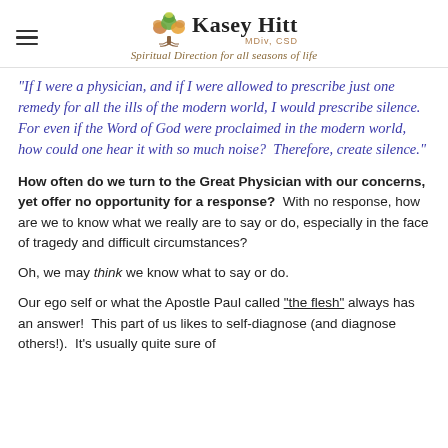Kasey Hitt MDiv, CSD — Spiritual Direction for all seasons of life
"If I were a physician, and if I were allowed to prescribe just one remedy for all the ills of the modern world, I would prescribe silence.  For even if the Word of God were proclaimed in the modern world, how could one hear it with so much noise?  Therefore, create silence."
How often do we turn to the Great Physician with our concerns, yet offer no opportunity for a response?  With no response, how are we to know what we really are to say or do, especially in the face of tragedy and difficult circumstances?
Oh, we may think we know what to say or do.
Our ego self or what the Apostle Paul called "the flesh" always has an answer!  This part of us likes to self-diagnose (and diagnose others!).  It's usually quite sure of